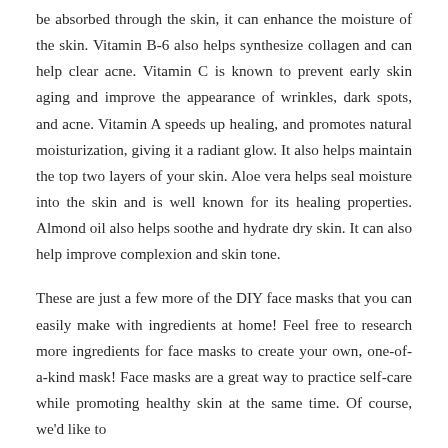be absorbed through the skin, it can enhance the moisture of the skin. Vitamin B-6 also helps synthesize collagen and can help clear acne. Vitamin C is known to prevent early skin aging and improve the appearance of wrinkles, dark spots, and acne. Vitamin A speeds up healing, and promotes natural moisturization, giving it a radiant glow. It also helps maintain the top two layers of your skin. Aloe vera helps seal moisture into the skin and is well known for its healing properties. Almond oil also helps soothe and hydrate dry skin. It can also help improve complexion and skin tone.
These are just a few more of the DIY face masks that you can easily make with ingredients at home! Feel free to research more ingredients for face masks to create your own, one-of-a-kind mask! Face masks are a great way to practice self-care while promoting healthy skin at the same time. Of course, we'd like to